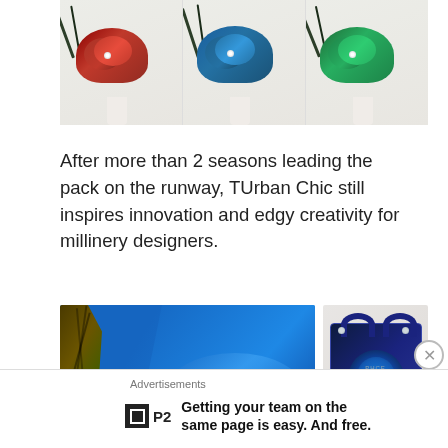[Figure (photo): Three mannequin heads wearing decorative turbans with peacock feathers and jewel brooches: one red/crimson, one royal blue, one emerald green]
After more than 2 seasons leading the pack on the runway, TUrban Chic still inspires innovation and edgy creativity for millinery designers.
[Figure (photo): Left: close-up of blue silk fabric with peacock feather. Right: dark navy designer handbag with blue floral painting.]
Advertisements
Getting your team on the same page is easy. And free.